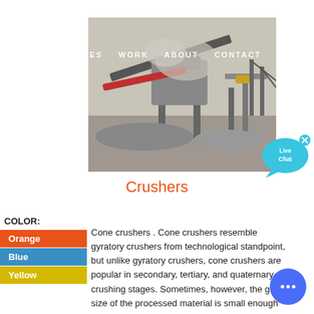[Figure (photo): Industrial crusher/mining equipment machinery at a quarry site, black and white photo]
SERVICES  WORK  ABOUT  CONTACT
Crushers
[Figure (illustration): Live Chat speech bubble icon in cyan/blue with 'Live Chat' text and an X close button]
COLOR:
Orange
Blue
Yellow
Cone crushers . Cone crushers resemble gyratory crushers from technological standpoint, but unlike gyratory crushers, cone crushers are popular in secondary, tertiary, and quaternary crushing stages. Sometimes, however, the grain size of the processed material is small enough by
[Figure (illustration): Round blue chat button with ellipsis (three dots) icon]